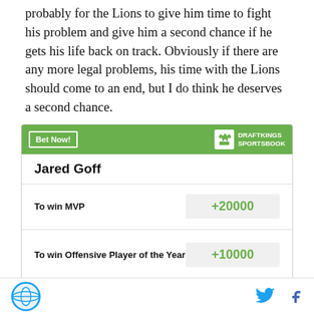probably for the Lions to give him time to fight his problem and give him a second chance if he gets his life back on track. Obviously if there are any more legal problems, his time with the Lions should come to an end, but I do think he deserves a second chance.
|  | Jared Goff |  |
| --- | --- | --- |
| To win MVP | +20000 |
| To win Offensive Player of the Year | +10000 |
[Figure (logo): SB Nation globe logo in footer]
Twitter and Facebook social share icons